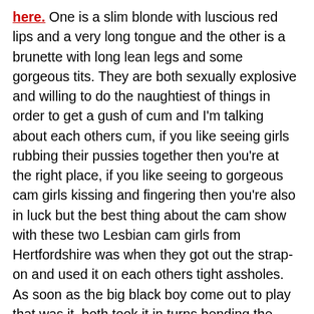here. One is a slim blonde with luscious red lips and a very long tongue and the other is a brunette with long lean legs and some gorgeous tits. They are both sexually explosive and willing to do the naughtiest of things in order to get a gush of cum and I'm talking about each others cum, if you like seeing girls rubbing their pussies together then you're at the right place, if you like seeing to gorgeous cam girls kissing and fingering then you're also in luck but the best thing about the cam show with these two Lesbian cam girls from Hertfordshire was when they got out the strap-on and used it on each others tight assholes. As soon as the big black boy come out to play that was it, both took it in turns bending the other one over and both girls couldn't wait to take the strap-on cock deep inside their ass. I'm a big fan of anal sex, I love to see a tight asshole opening and closing, the look on the girls face as a cock goes deep inside her ass but this was the first time watching one lesbian fuck